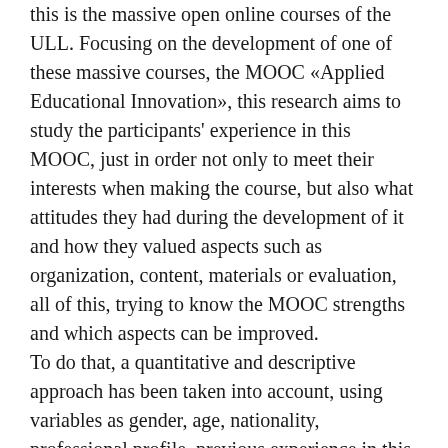this is the massive open online courses of the ULL. Focusing on the development of one of these massive courses, the MOOC «Applied Educational Innovation», this research aims to study the participants' experience in this MOOC, just in order not only to meet their interests when making the course, but also what attitudes they had during the development of it and how they valued aspects such as organization, content, materials or evaluation, all of this, trying to know the MOOC strengths and which aspects can be improved. To do that, a quantitative and descriptive approach has been taken into account, using variables as gender, age, nationality, professional profile, previous experience in this kind of courses, interest in the topic of the MOOC, interest for the course